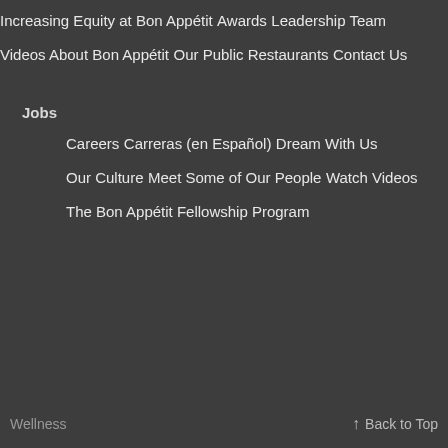Increasing Equity at Bon Appétit
Awards
Leadership Team
Videos About Bon Appétit
Our Public Restaurants
Contact Us
Jobs
Careers
Carreras (en Español)
Dream With Us
Our Culture
Meet Some of Our People
Watch Videos
The Bon Appétit Fellowship Program
Wellness
↑ Back to Top